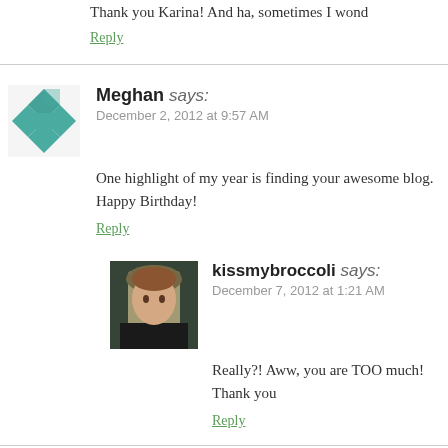Thank you Karina! And ha, sometimes I wond
Reply
Meghan says: December 2, 2012 at 9:57 AM
One highlight of my year is finding your awesome blog. Happy Birthday!
Reply
kissmybroccoli says: December 7, 2012 at 1:21 AM
Really?! Aww, you are TOO much! Thank you
Reply
andie Salas says: